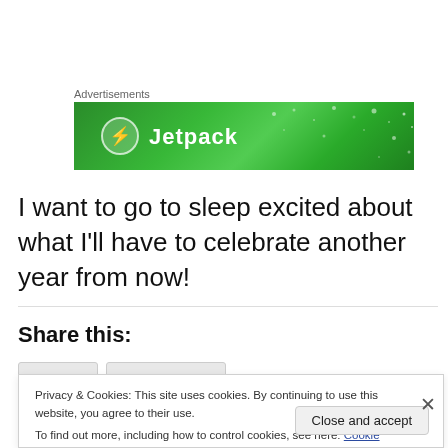[Figure (other): Green Jetpack advertisement banner with white circular logo and 'Jetpack' text]
I want to go to sleep excited about what I'll have to celebrate another year from now!
Share this:
Privacy & Cookies: This site uses cookies. By continuing to use this website, you agree to their use.
To find out more, including how to control cookies, see here: Cookie Policy